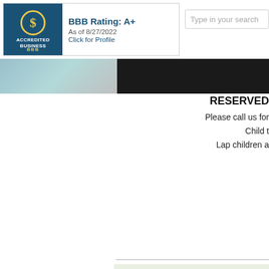BBB Rating: A+ As of 8/27/2022 Click for Profile | Type in your search
[Figure (logo): BBB Accredited Business seal with A+ rating dated 8/27/2022]
[Figure (photo): Dark banner image strip across the page]
RESERVED Please call us for Child t Lap children a
| Tier: | Ages: |
| --- | --- |
| Adult | 13+ |
| Child | 12 and u |
Branson Ticket Sto